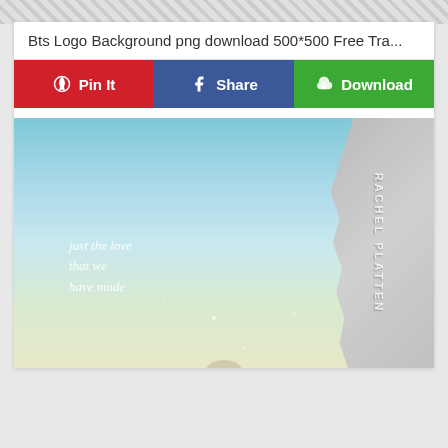Bts Logo Background png download 500*500 Free Tra...
[Figure (infographic): Three action buttons: Pin It (red, Pinterest), Share (blue, Facebook), Download (green, with cloud/download icon)]
[Figure (photo): Rachel Platten album or promotional image. Sky gradient background from blue to cream. Torn grey paper on the right side with 'Rachel Platten' text rotated vertically. Handwritten text reads 'just the love that we have made' in white cursive on the left side.]